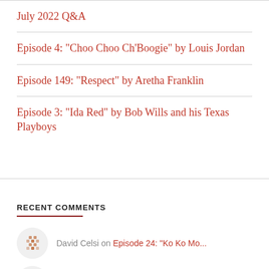July 2022 Q&A
Episode 4: "Choo Choo Ch'Boogie" by Louis Jordan
Episode 149: "Respect" by Aretha Franklin
Episode 3: "Ida Red" by Bob Wills and his Texas Playboys
RECENT COMMENTS
David Celsi on Episode 24: "Ko Ko Mo..."
Mark Phillips on PLEDGE WEEK: "Blues Run"